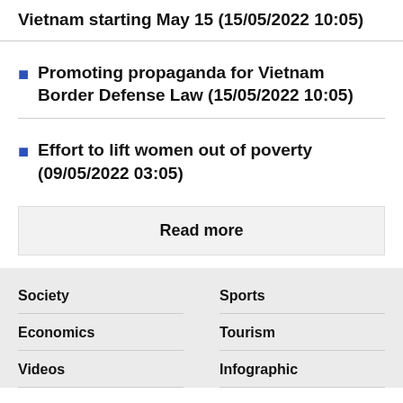Vietnam starting May 15 (15/05/2022 10:05)
Promoting propaganda for Vietnam Border Defense Law (15/05/2022 10:05)
Effort to lift women out of poverty (09/05/2022 03:05)
Read more
Society | Sports | Economics | Tourism | Videos | Infographic